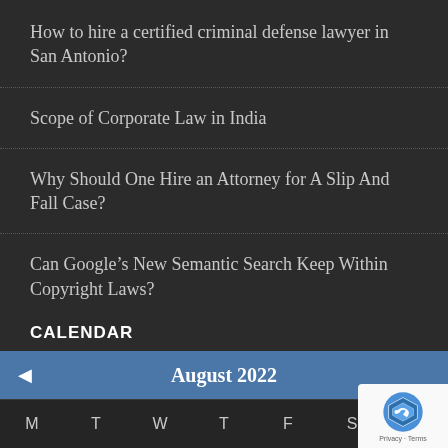How to hire a certified criminal defense lawyer in San Antonio?
Scope of Corporate Law in India
Why Should One Hire an Attorney for A Slip And Fall Case?
Can Google’s New Semantic Search Keep Within Copyright Laws?
CALENDAR
| M | T | W | T | F | S | S |
| --- | --- | --- | --- | --- | --- | --- |